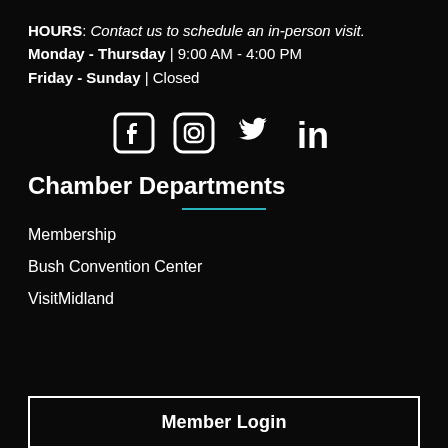HOURS: Contact us to schedule an in-person visit.
Monday - Thursday | 9:00 AM - 4:00 PM
Friday - Sunday | Closed
[Figure (illustration): Social media icons: Facebook, Instagram, Twitter, LinkedIn]
Chamber Departments
Membership
Bush Convention Center
VisitMidland
Member Login